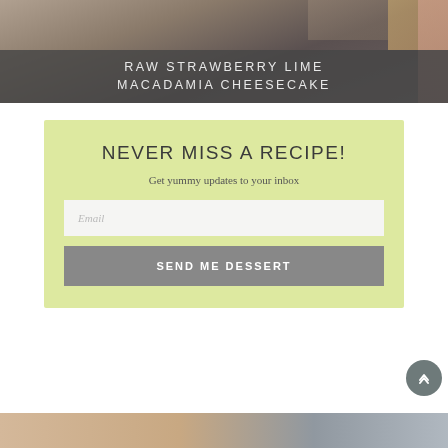[Figure (photo): Top portion of a food photo showing what appears to be a raw cheesecake in a pan, partially cropped]
RAW STRAWBERRY LIME
MACADAMIA CHEESECAKE
NEVER MISS A RECIPE!
Get yummy updates to your inbox
Email
SEND ME DESSERT
[Figure (photo): Bottom portion of another food photo, partially visible at bottom of page]